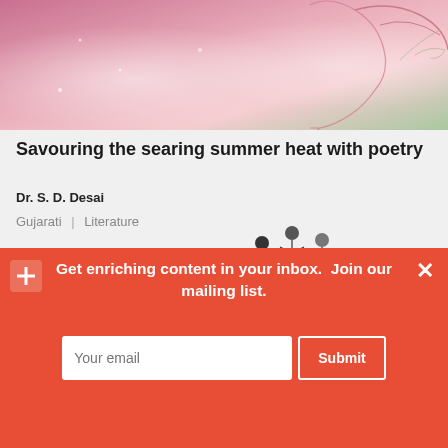[Figure (illustration): Abstract illustration with a woman's profile silhouette in pink/purple gradient tones with floral and nature elements]
Savouring the searing summer heat with poetry
Dr. S. D. Desai
Gujarati | Literature
[Figure (illustration): Black and white cartoon illustration of people at a desk/counter, with 'Reviews' text in italic serif font]
[Figure (photo): Dance performance photo showing performers in orange/yellow costumes dancing on a dark stage, with a small orange 'cy' logo in top right corner]
Get enriching content in your inbox.  Join our mailing list.